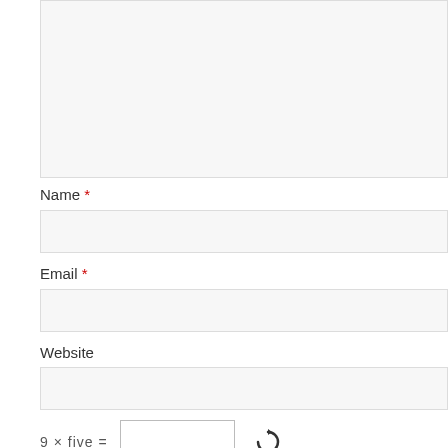[Figure (screenshot): Text area input box (top portion of a comment form), partially visible at the top of the page, gray background with border]
Name *
[Figure (screenshot): Name input field, gray background with border]
Email *
[Figure (screenshot): Email input field, gray background with border]
Website
[Figure (screenshot): Website input field, gray background with border]
9 × five =
[Figure (screenshot): CAPTCHA math input field with refresh icon]
Post Comment